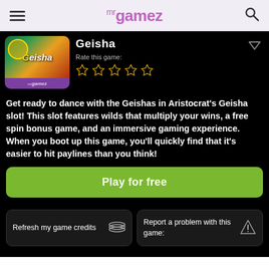mr gamez
[Figure (screenshot): Geisha slot game thumbnail showing a geisha character with decorative Asian motifs, branded with mr gamez logo]
Geisha
Rate this game:
[Figure (other): 5 empty star rating icons in gold/yellow color]
Get ready to dance with the Geishas in Aristocrat's Geisha slot! This slot features wilds that multiply your wins, a free spin bonus game, and an immersive gaming experience. When you boot up this game, you'll quickly find that it's easier to hit paylines than you think!
Play for free
Refresh my game credits
Report a problem with this game: